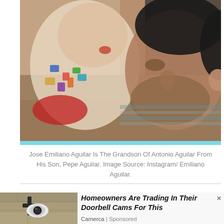[Figure (photo): A vintage/retro photograph of a man with dark hair and stubble kissing or nuzzling a baby dressed in a colorful patterned outfit. The baby's mouth is open. There is a light blue/cyan stripe at the bottom of the photo.]
Jose Emiliano Aguilar Is The Grandson Of Antonio Aguilar From His Son, Pepe Aguilar. Image Source: Instagram/ Emiliano Aguilar.
[Figure (photo): Advertisement image showing an outdoor security camera mounted on a wall bracket against a stone/brick wall background.]
Homeowners Are Trading In Their Doorbell Cams For This
Camerca | Sponsored